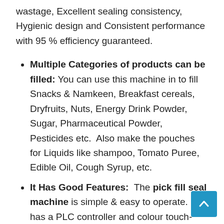wastage, Excellent sealing consistency, Hygienic design and Consistent performance with 95 % efficiency guaranteed.
Multiple Categories of products can be filled: You can use this machine in to fill Snacks & Namkeen, Breakfast cereals, Dryfruits, Nuts, Energy Drink Powder, Sugar, Pharmaceutical Powder, Pesticides etc.  Also make the pouches for Liquids like shampoo, Tomato Puree, Edible Oil, Cough Syrup, etc.
It Has Good Features:  The pick fill seal machine is simple & easy to operate. It has a PLC controller and colour touch-display screen, safety interlocks, CAT-3 safety enables, fault indication at the